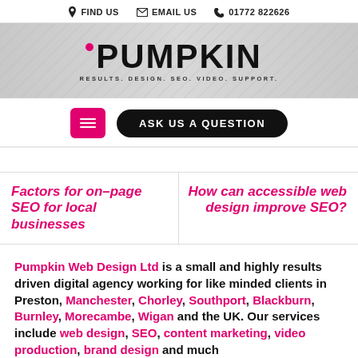FIND US  EMAIL US  01772 822626
[Figure (logo): Pumpkin logo with tagline RESULTS. DESIGN. SEO. VIDEO. SUPPORT.]
ASK US A QUESTION
Factors for on-page SEO for local businesses
How can accessible web design improve SEO?
Pumpkin Web Design Ltd is a small and highly results driven digital agency working for like minded clients in Preston, Manchester, Chorley, Southport, Blackburn, Burnley, Morecambe, Wigan and the UK. Our services include web design, SEO, content marketing, video production, brand design and much